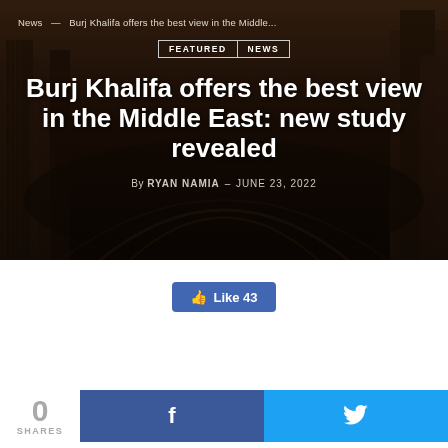[Figure (photo): Aerial cityscape of Dubai with skyscrapers and highway interchanges, dark moody tone, used as hero background]
News — Burj Khalifa offers the best view in the Middle...
FEATURED | NEWS
Burj Khalifa offers the best view in the Middle East: new study revealed
By RYAN NAMIA – JUNE 23, 2022
👍 Like 43
0 SHARES
f
🐦
A new study by Renith has revealed that the Burj...